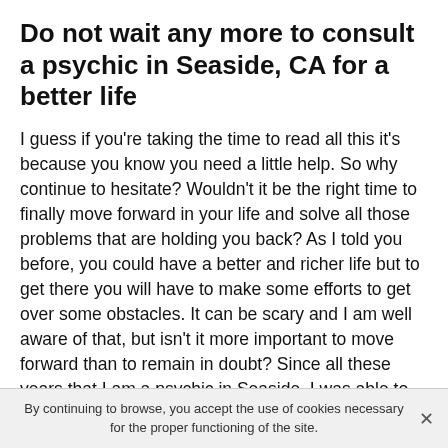Do not wait any more to consult a psychic in Seaside, CA for a better life
I guess if you're taking the time to read all this it's because you know you need a little help. So why continue to hesitate? Wouldn't it be the right time to finally move forward in your life and solve all those problems that are holding you back? As I told you before, you could have a better and richer life but to get there you will have to make some efforts to get over some obstacles. It can be scary and I am well aware of that, but isn't it more important to move forward than to remain in doubt? Since all these years that I am a psychic in Seaside, I was able to answer very many requests and thanks to that people are very happy because they finally decided to take their life in hand.
By continuing to browse, you accept the use of cookies necessary for the proper functioning of the site.